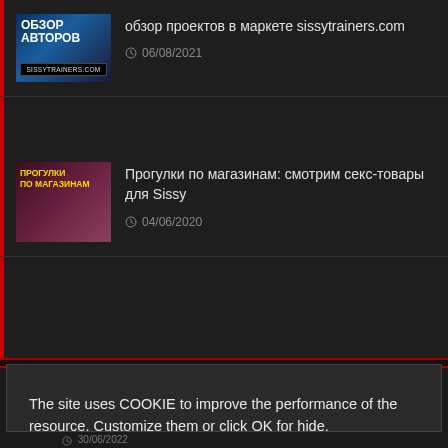[Figure (screenshot): Website listing item thumbnail with text ОБЗОР АВТОРОВ and sissytrainers.com logo]
обзор проектов в маркете sissytrainers.com
06/08/2021
[Figure (screenshot): Website listing item thumbnail with text ПРОГУЛКИ ПО МАГАЗИНАМ]
Прогулки по магазинам: смотрим секс-товары для Sissy
04/06/2020
The site uses COOKIE to improve the performance of the resource. Customize them or click OK for hide.

На сайте используются файлы COOKIE для улучшения работы ресурса. Настройте их или нажмите OK, чтобы скрыть сообщ.
More (Настр.)
OK
30/06/2022